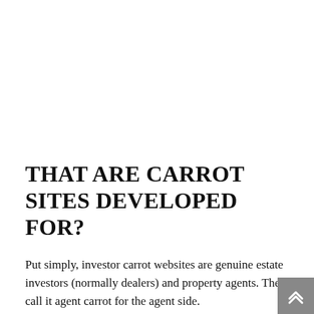THAT ARE CARROT SITES DEVELOPED FOR?
Put simply, investor carrot websites are genuine estate investors (normally dealers) and property agents. They call it agent carrot for the agent side.
It does not matter if you're all new and even a